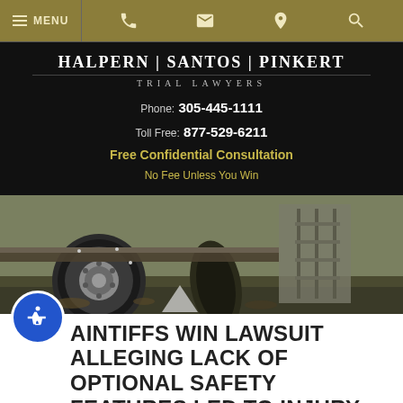MENU (navigation bar with phone, email, location, search icons)
HALPERN | SANTOS | PINKERT
TRIAL LAWYERS
Phone: 305-445-1111
Toll Free: 877-529-6211
Free Confidential Consultation
No Fee Unless You Win
[Figure (photo): Truck tires and undercarriage close-up photograph showing damaged/worn truck tires on grass]
PLAINTIFFS WIN LAWSUIT ALLEGING LACK OF OPTIONAL SAFETY FEATURES LED TO INJURY